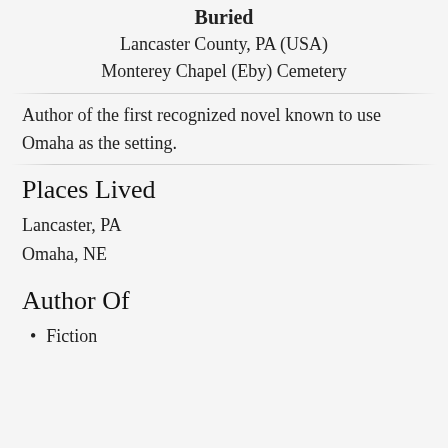Buried
Lancaster County, PA (USA)
Monterey Chapel (Eby) Cemetery
Author of the first recognized novel known to use Omaha as the setting.
Places Lived
Lancaster, PA
Omaha, NE
Author Of
Fiction